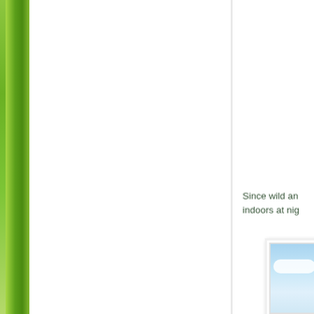[Figure (illustration): Green gradient vertical bar on the left side of the page]
Since wild an indoors at nig
[Figure (photo): Partial view of a framed photo showing a blue sky with clouds]